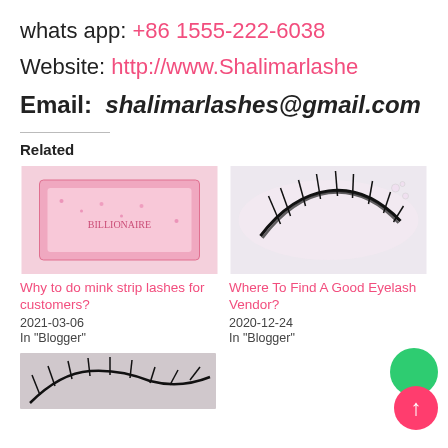whats app: +86 1555-222-6038
Website: http://www.Shalimarlashe
Email:  shalimarlashes@gmail.com
Related
[Figure (photo): Pink glitter lash box labeled BILLIONAIRE]
Why to do mink strip lashes for customers?
2021-03-06
In "Blogger"
[Figure (photo): Mink eyelash strips displayed on white background]
Where To Find A Good Eyelash Vendor?
2020-12-24
In "Blogger"
[Figure (photo): Eyelashes product image partial view at bottom]